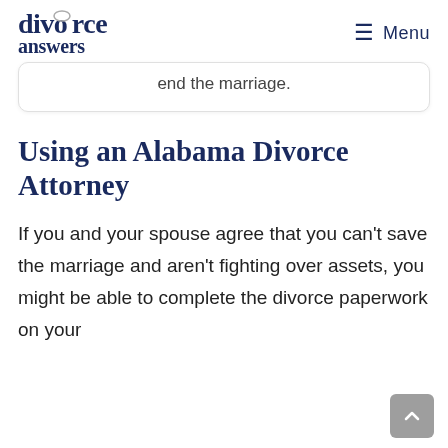divorce answers | Menu
end the marriage.
Using an Alabama Divorce Attorney
If you and your spouse agree that you can't save the marriage and aren't fighting over assets, you might be able to complete the divorce paperwork on your